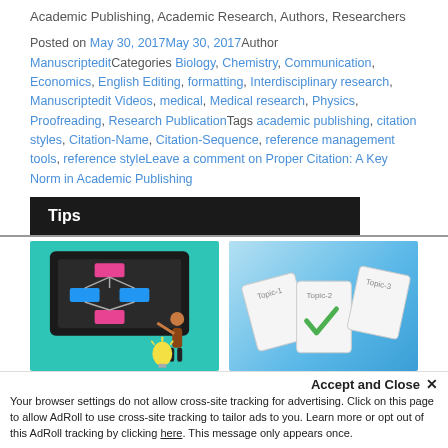Academic Publishing, Academic Research, Authors, Researchers
Posted on May 30, 2017May 30, 2017Author ManuscripteditCategories Biology, Chemistry, Communication, Economics, English Editing, formatting, Interdisciplinary research, Manuscriptedit Videos, medical, Medical research, Physics, Proofreading, Research PublicationTags academic publishing, citation styles, Citation-Name, Citation-Sequence, reference management tools, reference styleLeave a comment on Proper Citation: A Key Norm in Academic Publishing
Tips
[Figure (illustration): Illustration of a person pointing at a flowchart diagram on a dark board, with a light bulb, on a teal/green background]
[Figure (illustration): Illustration of three paper cards labeled Topic-1, Topic-2, Topic-3 with a green checkmark on Topic-2, on a blue gradient background]
Accept and Close ✕
Your browser settings do not allow cross-site tracking for advertising. Click on this page to allow AdRoll to use cross-site tracking to tailor ads to you. Learn more or opt out of this AdRoll tracking by clicking here. This message only appears once.